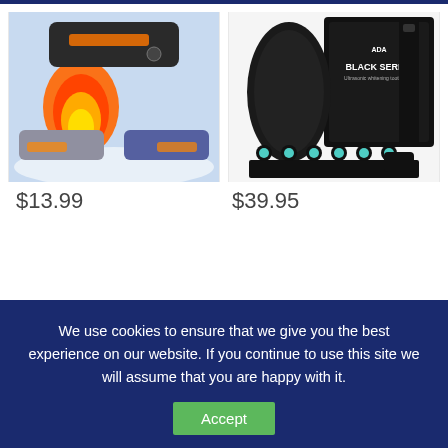[Figure (photo): Heated scarf product image showing grey and blue scarves with fire/heat graphic]
[Figure (photo): AquaSonic Black Series electric toothbrush set with multiple brush heads in black packaging]
$13.99
$39.95
Health Care
Aroma Professional AWK-70116-in-1 Nutri-Water,
Health Care
Aurora Health & Beauty Rotating Shiatsu Foot
We use cookies to ensure that we give you the best experience on our website. If you continue to use this site we will assume that you are happy with it.
Accept